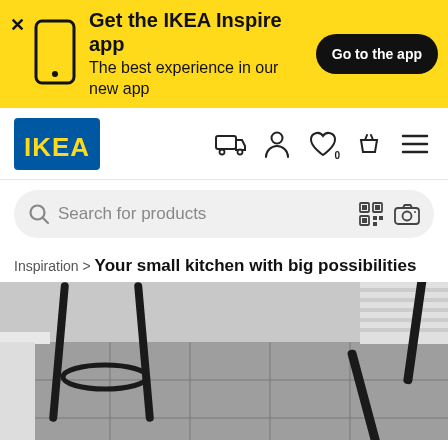[Figure (screenshot): IKEA app promotion banner with yellow background, phone icon, text 'Get the IKEA Inspire app - The best experience in our new app', and a 'Go to the app' button]
[Figure (logo): IKEA blue and yellow logo]
[Figure (screenshot): Navigation bar with IKEA logo, delivery truck icon, person icon, heart/wishlist icon with 0, basket icon, and hamburger menu icon]
[Figure (screenshot): Search bar with magnifying glass, placeholder 'Search for products', QR code icon, and camera icon]
Inspiration > Your small kitchen with big possibilities
[Figure (photo): Black metal bar stool legs and chair legs on grey tiled floor with white wooden slats in background]